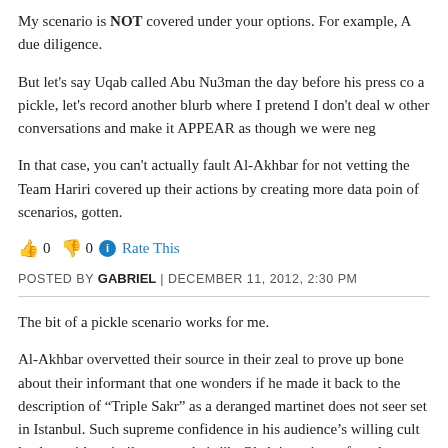My scenario is NOT covered under your options. For example, A due diligence.
But let's say Uqab called Abu Nu3man the day before his press co a pickle, let's record another blurb where I pretend I don't deal w other conversations and make it APPEAR as though we were neg
In that case, you can't actually fault Al-Akhbar for not vetting the Team Hariri covered up their actions by creating more data poin of scenarios, gotten.
👍 0 👎 0 ℹ Rate This
POSTED BY GABRIEL | DECEMBER 11, 2012, 2:30 PM
The bit of a pickle scenario works for me.
Al-Akhbar overvetted their source in their zeal to prove up bone about their informant that one wonders if he made it back to the description of "Triple Sakr" as a deranged martinet does not seer set in Istanbul. Such supreme confidence in his audience's willing cult leaders with a similar cut to their jib. Okab is a piece of work Ahmed Chalabi.